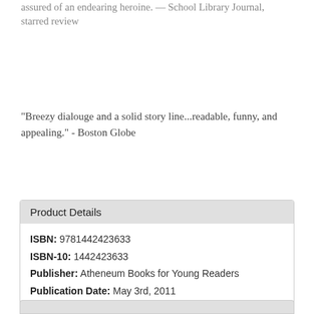assured of an endearing heroine. — School Library Journal, starred review
"Breezy dialouge and a solid story line...readable, funny, and appealing." - Boston Globe
| Product Details |
| --- |
| ISBN: 9781442423633 |
| ISBN-10: 1442423633 |
| Publisher: Atheneum Books for Young Readers |
| Publication Date: May 3rd, 2011 |
| Pages: 176 |
| Language: English |
| Series: Alice |